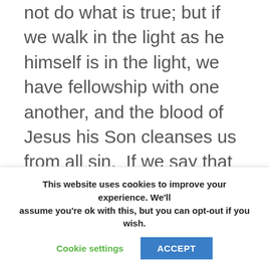not do what is true; but if we walk in the light as he himself is in the light, we have fellowship with one another, and the blood of Jesus his Son cleanses us from all sin.  If we say that we have no sin, we deceive ourselves, and the truth is not in us.  If we confess our sins, he who is faithful and just will forgive us our sins and cleanse us from all unrighteousness.  If we say that we have not sinned, we make him a liar, and his word is not in us.  My little children, I am writing these things to you so that you may not sin.
This website uses cookies to improve your experience. We'll assume you're ok with this, but you can opt-out if you wish.
Cookie settings
ACCEPT